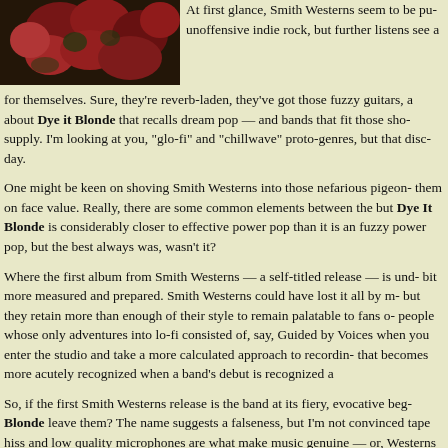[Figure (photo): A partial photo showing red flowers or foliage against a dark background, positioned top-left of the page.]
At first glance, Smith Westerns seem to be pu- unoffensive indie rock, but further listens see a for themselves. Sure, they're reverb-laden, they've got those fuzzy guitars, a about Dye it Blonde that recalls dream pop — and bands that fit those sho- supply. I'm looking at you, "glo-fi" and "chillwave" proto-genres, but that disc- day.

One might be keen on shoving Smith Westerns into those nefarious pigeon- them on face value. Really, there are some common elements between the but Dye It Blonde is considerably closer to effective power pop than it is an fuzzy power pop, but the best always was, wasn't it?

Where the first album from Smith Westerns — a self-titled release — is und- bit more measured and prepared. Smith Westerns could have lost it all by m- but they retain more than enough of their style to remain palatable to fans o- people whose only adventures into lo-fi consisted of, say, Guided by Voices when you enter the studio and take a more calculated approach to recordin- that becomes more acutely recognized when a band's debut is recognized a

So, if the first Smith Westerns release is the band at its fiery, evocative beg- Blonde leave them? The name suggests a falseness, but I'm not convinced tape hiss and low quality microphones are what make music genuine — or, Westerns genuine — then there's been nothing quite as good as that first cr-